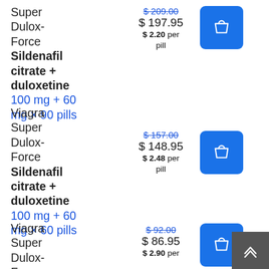Viagra Super Dulox-Force Sildenafil citrate + duloxetine 100 mg + 60 mg × 90 pills $209.00 $197.95 $2.20 per pill
Viagra Super Dulox-Force Sildenafil citrate + duloxetine 100 mg + 60 mg × 60 pills $157.00 $148.95 $2.48 per pill
Viagra Super Dulox-Force Sildenafil citrate + duloxetine $92.00 $86.95 $2.90 per pill